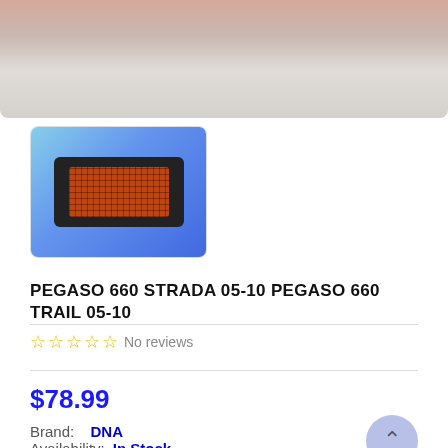[Figure (photo): Top portion of a product image showing a close-up of a filter material texture with pinkish and grey tones]
[Figure (photo): Thumbnail image of a black rectangular air filter with orange/red honeycomb mesh on a blue background]
PEGASO 660 STRADA 05-10 PEGASO 660 TRAIL 05-10
No reviews
$78.99
Brand: DNA
Availability: In Stock
This is what Power is made of! This DNAu00ae High Performance Filter is a high quality, next generation